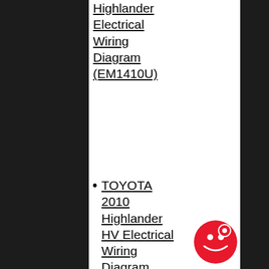Highlander Electrical Wiring Diagram (EM1410U)
TOYOTA 2010 Highlander HV Electrical Wiring Diagram (EM1420U)
TOYOTA 2010 Land Cruiser Electrical Wiring Diagram